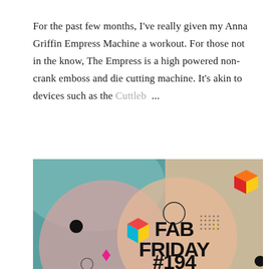For the past few months, I've really given my Anna Griffin Empress Machine a workout. For those not in the know, The Empress is a high powered non-crank emboss and die cutting machine. It's akin to devices such as the Cuttleb...
SHARE   6 COMMENTS   READ MORE
[Figure (illustration): Colorful geometric shapes on teal and peach background with bold text reading 'FAB FRIDAY #194']